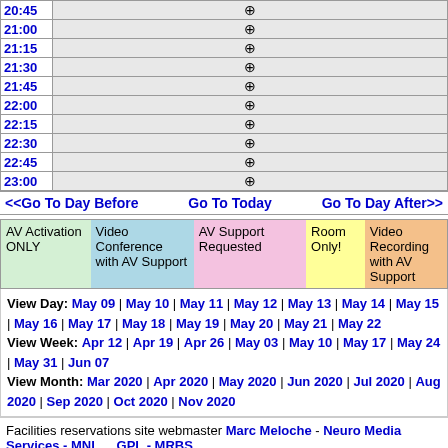| Time | Slot |
| --- | --- |
| 20:45 | ⊕ |
| 21:00 | ⊕ |
| 21:15 | ⊕ |
| 21:30 | ⊕ |
| 21:45 | ⊕ |
| 22:00 | ⊕ |
| 22:15 | ⊕ |
| 22:30 | ⊕ |
| 22:45 | ⊕ |
| 23:00 | ⊕ |
<<Go To Day Before    Go To Today    Go To Day After>>
| AV Activation ONLY | Video Conference with AV Support | AV Support Requested | Room Only! | Video Recording with AV Support |
| --- | --- | --- | --- | --- |
View Day: May 09 | May 10 | May 11 | May 12 | May 13 | May 14 | May 15 | May 16 | May 17 | May 18 | May 19 | May 20 | May 21 | May 22
View Week: Apr 12 | Apr 19 | Apr 26 | May 03 | May 10 | May 17 | May 24 | May 31 | Jun 07
View Month: Mar 2020 | Apr 2020 | May 2020 | Jun 2020 | Jul 2020 | Aug 2020 | Sep 2020 | Oct 2020 | Nov 2020
Facilities reservations site webmaster Marc Meloche - Neuro Media Services - MNI       GPL - MRBS